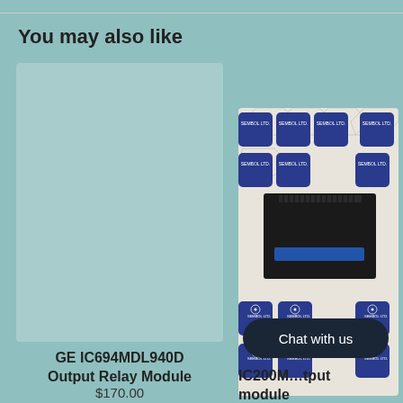You may also like
[Figure (photo): Teal/light blue placeholder card for product image on the left]
[Figure (photo): Photo of a dark industrial relay module (GE or similar) placed on a white hexagonal-patterned surface with Sembol Ltd. branded tiles]
GE IC694MDL940D
Output Relay Module
$170.00
Chat with us
IC200M...tput
module